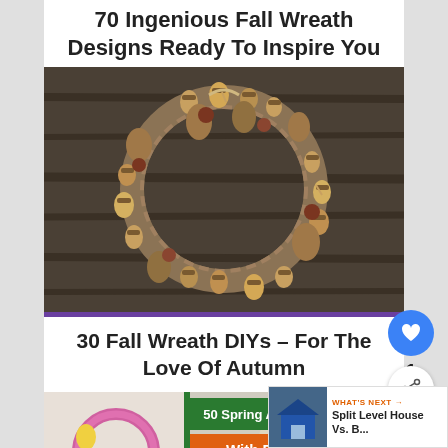70 Ingenious Fall Wreath Designs Ready To Inspire You
[Figure (photo): A circular fall wreath made of acorns, pine cones, and natural materials hanging on a dark wooden door]
30 Fall Wreath DIYs – For The Love Of Autumn
[Figure (photo): Bottom image showing spring and Easter wreaths with text overlay: 50 Spring And Easter Wreaths With Fresh Designs]
WHAT'S NEXT → Split Level House Vs. B...